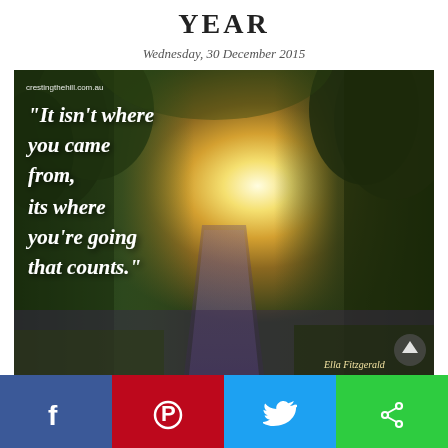YEAR
Wednesday, 30 December 2015
[Figure (photo): A forest road with sunlight breaking through trees, with an Ella Fitzgerald quote overlaid in white italic text: "It isn't where you came from, its where you're going that counts." Site label crestingthehill.com.au in top left corner. Attribution 'Ella Fitzgerald' at bottom right.]
[Figure (infographic): Social media sharing bar with four buttons: Facebook (blue), Pinterest (red), Twitter (light blue), and a share button (green).]